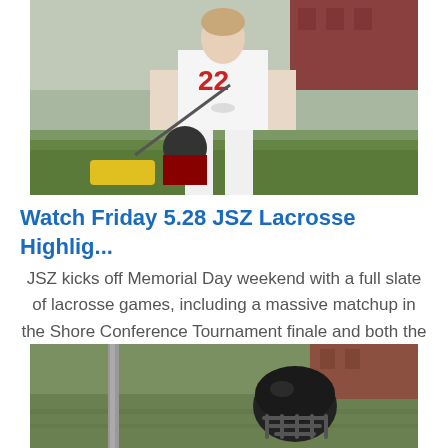[Figure (photo): Lacrosse player in white uniform with number 22, holding a lacrosse stick, on a green field with a red brick building in the background.]
Watch Friday 5.28 JSZ Lacrosse Highlig...
JSZ kicks off Memorial Day weekend with a full slate of lacrosse games, including a massive matchup in the Shore Conference Tournament finale and both the boys and girls finals in the
[Figure (photo): A lacrosse helmet on green grass with a pole visible on the left side of the image.]